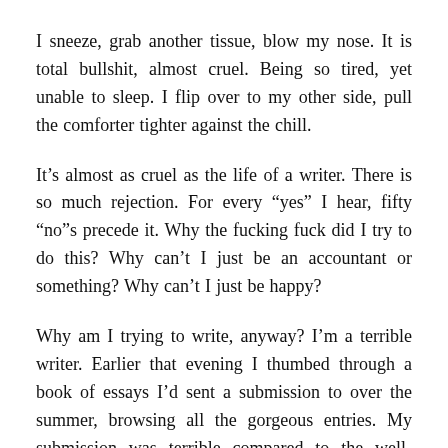I sneeze, grab another tissue, blow my nose. It is total bullshit, almost cruel. Being so tired, yet unable to sleep. I flip over to my other side, pull the comforter tighter against the chill.
It's almost as cruel as the life of a writer. There is so much rejection. For every “yes” I hear, fifty “no”s precede it. Why the fucking fuck did I try to do this? Why can’t I just be an accountant or something? Why can’t I just be happy?
Why am I trying to write, anyway? I’m a terrible writer. Earlier that evening I thumbed through a book of essays I’d sent a submission to over the summer, browsing all the gorgeous entries. My submission was terrible compared to the well-crafted prose I held in my hand. No wonder I hadn’t heard back from them, not even a courtesy “We’re not interested.”
I shouldn’t write when I’m in the middle of a depressive